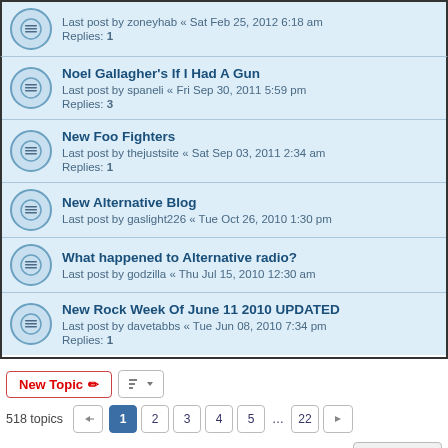Last post by zoneyhab « Sat Feb 25, 2012 6:18 am
Replies: 1
Noel Gallagher's If I Had A Gun
Last post by spaneli « Fri Sep 30, 2011 5:59 pm
Replies: 3
New Foo Fighters
Last post by thejustsite « Sat Sep 03, 2011 2:34 am
Replies: 1
New Alternative Blog
Last post by gaslight226 « Tue Oct 26, 2010 1:30 pm
What happened to Alternative radio?
Last post by godzilla « Thu Jul 15, 2010 12:30 am
New Rock Week Of June 11 2010 UPDATED
Last post by davetabbs « Tue Jun 08, 2010 7:34 pm
Replies: 1
518 topics  1 2 3 4 5 ... 22
FORUM PERMISSIONS
You cannot post new topics in this forum